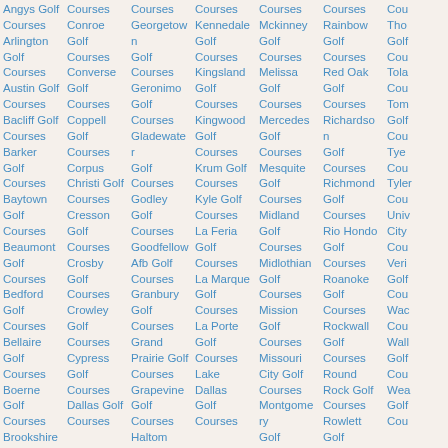Angus Golf Courses Conroe Golf Courses Georgetown Golf Courses Geronimo Golf Courses Gladewater Golf Courses Godley Golf Courses Goodfellow Afb Golf Courses Granbury Golf Courses Grand Prairie Golf Courses Grapevine Golf Courses Haltom City Golf Courses Kennedale Golf Courses Kingsland Golf Courses Kingwood Golf Courses Krum Golf Courses Kyle Golf Courses La Feria Golf Courses La Marque Golf Courses La Porte Golf Courses Lake Dallas Golf Courses Mckinney Golf Courses Melissa Golf Courses Mercedes Golf Courses Mesquite Golf Courses Midland Golf Courses Midlothian Golf Courses Mission Golf Courses Missouri City Golf Courses Montgomery Golf Courses Nash Golf Courses Rainbow Golf Courses Red Oak Golf Courses Richardson Golf Courses Richmond Golf Courses Rio Hondo Golf Courses Roanoke Golf Courses Rockwall Golf Courses Round Rock Golf Courses Rowlett Golf Courses Arlington Golf Courses Austin Golf Courses Bacliff Golf Courses Barker Golf Courses Baytown Golf Courses Beaumont Golf Courses Bedford Golf Courses Bellaire Golf Courses Boerne Golf Courses Brookshire Golf Courses Brownsville Golf Courses Converse Golf Courses Coppell Golf Courses Corpus Christi Golf Courses Cresson Golf Courses Crosby Golf Courses Crowley Golf Courses Cypress Golf Courses Dallas Golf Courses Tho Golf Tola Cou Tom Golf Tye Cou Tyler Cou Univ City Cou Veri Golf Cou Wac Cou Wall Golf Cou Wea Golf Cou